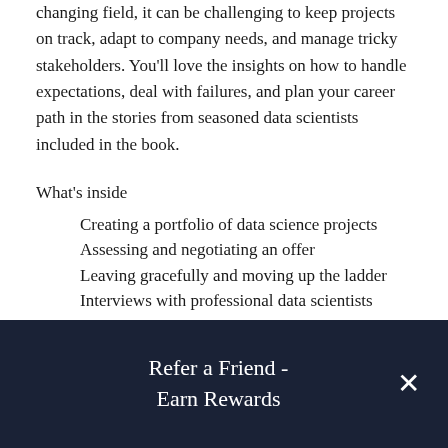changing field, it can be challenging to keep projects on track, adapt to company needs, and manage tricky stakeholders. You'll love the insights on how to handle expectations, deal with failures, and plan your career path in the stories from seasoned data scientists included in the book.
What's inside
Creating a portfolio of data science projects
Assessing and negotiating an offer
Leaving gracefully and moving up the ladder
Interviews with professional data scientists
About the reader
For readers who want to begin or advance a data
Refer a Friend - Earn Rewards